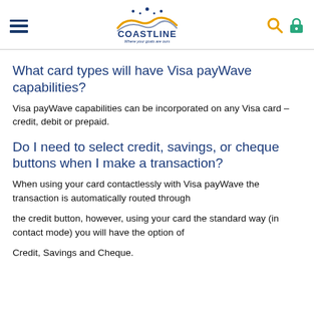Coastline – Where your goals are ours
What card types will have Visa payWave capabilities?
Visa payWave capabilities can be incorporated on any Visa card – credit, debit or prepaid.
Do I need to select credit, savings, or cheque buttons when I make a transaction?
When using your card contactlessly with Visa payWave the transaction is automatically routed through
the credit button, however, using your card the standard way (in contact mode) you will have the option of
Credit, Savings and Cheque.